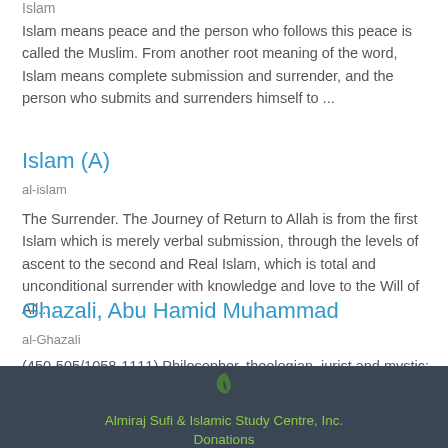Islam
Islam means peace and the person who follows this peace is called the Muslim. From another root meaning of the word, Islam means complete submission and surrender, and the person who submits and surrenders himself to ...
Islam (A)
al-islam
The Surrender. The Journey of Return to Allah is from the first Islam which is merely verbal submission, through the levels of ascent to the second and Real Islam, which is total and unconditional surrender with knowledge and love to the Will of All...
Ghazali, Abu Hamid Muhammad
al-Ghazali
(450-505/1058-1111) Philosopher, theologian, jurist and mystic; he was known in Europe as "Algazel". He was born and died in Tus, Persia. An extraordinary figure, al-Ghazali
Almiraj Sufi & Islamic Study Centre, Inc.
Donations